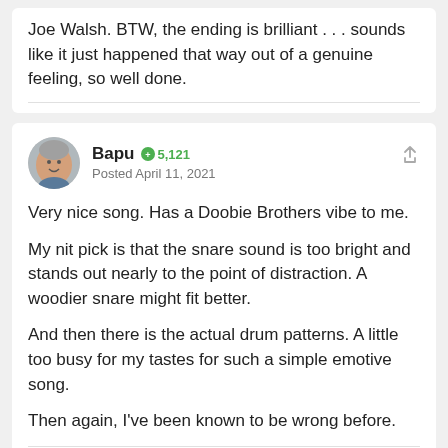Joe Walsh. BTW, the ending is brilliant . . . sounds like it just happened that way out of a genuine feeling, so well done.
Bapu  5,121
Posted April 11, 2021
Very nice song. Has a Doobie Brothers vibe to me.
My nit pick is that the snare sound is too bright and stands out nearly to the point of distraction. A woodier snare might fit better.
And then there is the actual drum patterns. A little too busy for my tastes for such a simple emotive song.
Then again, I've been known to be wrong before.